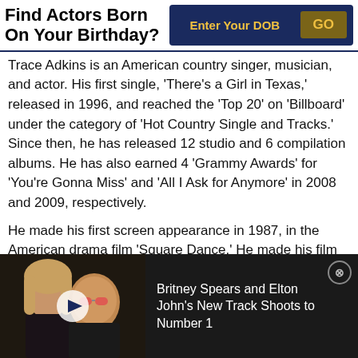Find Actors Born On Your Birthday? | Enter Your DOB | GO
Trace Adkins is an American country singer, musician, and actor. His first single, ‘There’s a Girl in Texas,’ released in 1996, and reached the ‘Top 20’ on ‘Billboard’ under the category of ‘Hot Country Single and Tracks.’ Since then, he has released 12 studio and 6 compilation albums. He has also earned 4 ‘Grammy Awards’ for ‘You’re Gonna Miss’ and ‘All I Ask for Anymore’ in 2008 and 2009, respectively.
He made his first screen appearance in 1987, in the American drama film ‘Square Dance.’ He made his film
[Figure (screenshot): Video ad overlay showing Britney Spears and Elton John with headline: Britney Spears and Elton John's New Track Shoots to Number 1]